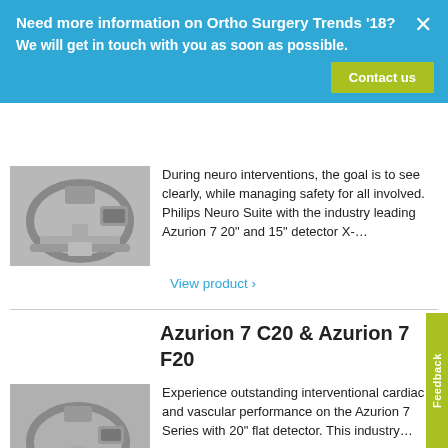Need more information on Ortho Surgery Trends '18?
We will get in touch with you as soon as possible.
Contact us
During neuro interventions, the goal is to see clearly, while managing safety for all involved. Philips Neuro Suite with the industry leading Azurion 7 20" and 15" detector X-…
[Figure (photo): Medical C-arm X-ray imaging system in clinical setting]
View product ›
Azurion 7 C20 & Azurion 7 F20
[Figure (photo): Medical C-arm X-ray imaging system, Azurion 7 series]
Experience outstanding interventional cardiac and vascular performance on the Azurion 7 Series with 20" flat detector. This industry…